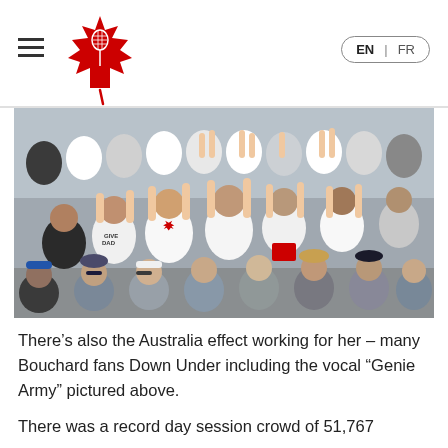Tennis Canada navigation header with logo and EN/FR language switcher
[Figure (photo): Crowd of fans in white and red Canadian shirts cheering at a tennis event, known as the 'Genie Army']
There’s also the Australia effect working for her – many Bouchard fans Down Under including the vocal “Genie Army” pictured above.
There was a record day session crowd of 51,767